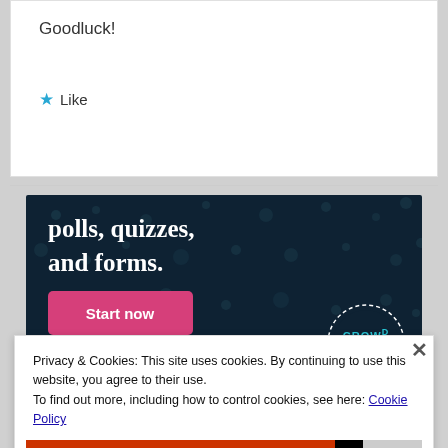Goodluck!
★ Like
[Figure (infographic): Dark navy advertisement banner with white bold text reading 'polls, quizzes, and forms.' with a pink 'Start now' button and a circular Crowd logo in the bottom right corner with dotted circle border.]
Privacy & Cookies: This site uses cookies. By continuing to use this website, you agree to their use.
To find out more, including how to control cookies, see here: Cookie Policy
Close and accept